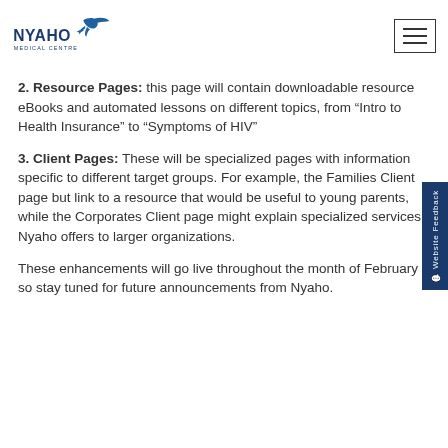NYAHO MEDICAL CENTRE
2. Resource Pages: this page will contain downloadable resource eBooks and automated lessons on different topics, from “Intro to Health Insurance” to “Symptoms of HIV”
3. Client Pages: These will be specialized pages with information specific to different target groups. For example, the Families Client page but link to a resource that would be useful to young parents, while the Corporates Client page might explain specialized services Nyaho offers to larger organizations.
These enhancements will go live throughout the month of February so stay tuned for future announcements from Nyaho.